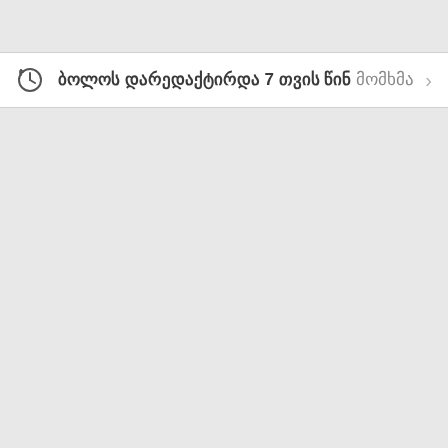ბოლოს დარედაქტირდა 7 თვის წინ მომხმარებელ...